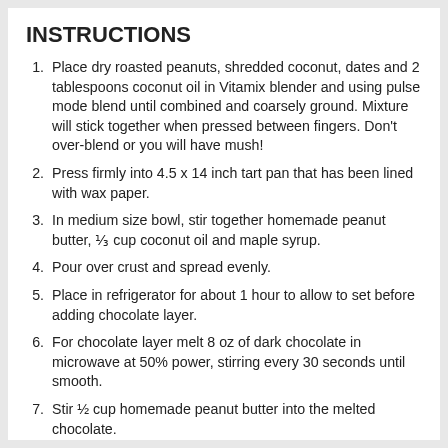INSTRUCTIONS
Place dry roasted peanuts, shredded coconut, dates and 2 tablespoons coconut oil in Vitamix blender and using pulse mode blend until combined and coarsely ground. Mixture will stick together when pressed between fingers. Don't over-blend or you will have mush!
Press firmly into 4.5 x 14 inch tart pan that has been lined with wax paper.
In medium size bowl, stir together homemade peanut butter, ⅓ cup coconut oil and maple syrup.
Pour over crust and spread evenly.
Place in refrigerator for about 1 hour to allow to set before adding chocolate layer.
For chocolate layer melt 8 oz of dark chocolate in microwave at 50% power, stirring every 30 seconds until smooth.
Stir ½ cup homemade peanut butter into the melted chocolate.
Spread over peanut butter layer and refrigerate until set.
Cut into squares.